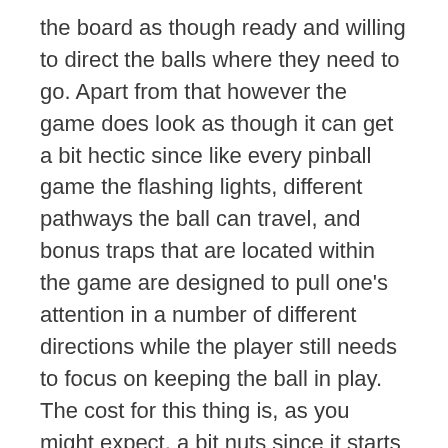the board as though ready and willing to direct the balls where they need to go. Apart from that however the game does look as though it can get a bit hectic since like every pinball game the flashing lights, different pathways the ball can travel, and bonus traps that are located within the game are designed to pull one's attention in a number of different directions while the player still needs to focus on keeping the ball in play. The cost for this thing is, as you might expect, a bit nuts since it starts around $6K and keeps going up. There are plenty of collectors out there that would no doubt love to have this in their home, their office, man-cave, whatever, but that price is a bit steep for quite a few people, but it would be a great conversation piece as well as a lot of fun to play. To see that The Mandalorian has inspired another item isn't surprising at all since the next season is still being anticipated by a lot of people and the adventures of Din Djarin are already